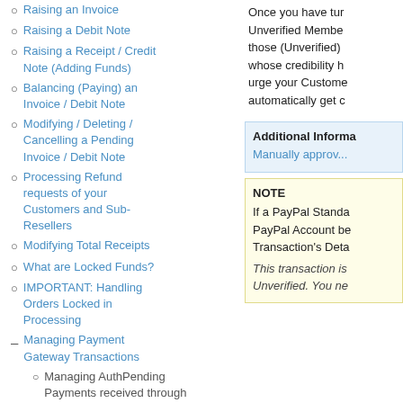Raising an Invoice
Raising a Debit Note
Raising a Receipt / Credit Note (Adding Funds)
Balancing (Paying) an Invoice / Debit Note
Modifying / Deleting / Cancelling a Pending Invoice / Debit Note
Processing Refund requests of your Customers and Sub-Resellers
Modifying Total Receipts
What are Locked Funds?
IMPORTANT: Handling Orders Locked in Processing
Managing Payment Gateway Transactions
Managing AuthPending Payments received through
Once you have tur... Unverified Membe... those (Unverified)... whose credibility h... urge your Custome... automatically get c...
Additional Informa...
Manually approv...
NOTE
If a PayPal Standa... PayPal Account be... Transaction's Deta...
This transaction is ... Unverified. You ne...